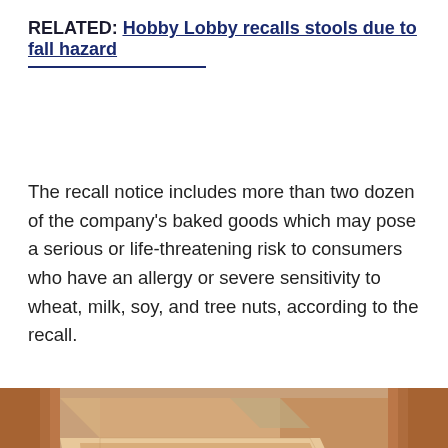RELATED: Hobby Lobby recalls stools due to fall hazard
The recall notice includes more than two dozen of the company's baked goods which may pose a serious or life-threatening risk to consumers who have an allergy or severe sensitivity to wheat, milk, soy, and tree nuts, according to the recall.
[Figure (photo): Photo of a baked bread loaf in a paper/cardboard box, viewed from above at an angle. The bread appears seeded with visible toppings. The image is cropped on both sides showing partial blurred views.]